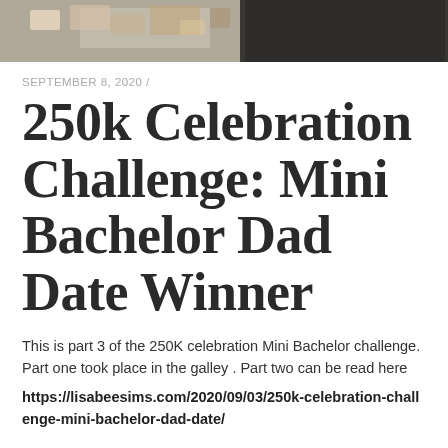[Figure (photo): Partial photo strip at top of page showing a blurred scene; left portion appears lighter with some colorful elements, right portion is dark.]
SEPTEMBER 8, 2020 /
250k Celebration Challenge: Mini Bachelor Dad Date Winner
This is part 3 of the 250K celebration Mini Bachelor challenge. Part one took place in the galley . Part two can be read here
https://lisabeesims.com/2020/09/03/250k-celebration-challenge-mini-bachelor-dad-date/